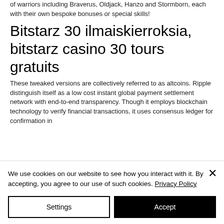of warriors including Braverus, Oldjack, Hanzo and Stormborn, each with their own bespoke bonuses or special skills!
Bitstarz 30 ilmaiskierroksia, bitstarz casino 30 tours gratuits
These tweaked versions are collectively referred to as altcoins. Ripple distinguish itself as a low cost instant global payment settlement network with end-to-end transparency. Though it employs blockchain technology to verify financial transactions, it uses consensus ledger for confirmation in
We use cookies on our website to see how you interact with it. By accepting, you agree to our use of such cookies. Privacy Policy
Settings
Accept